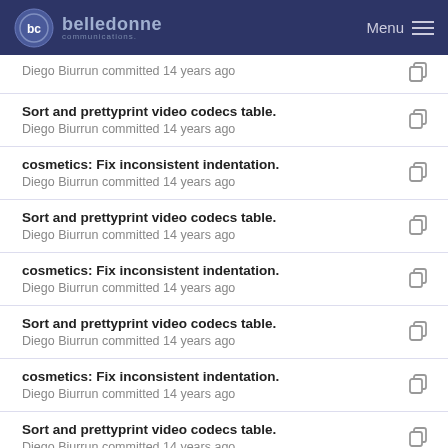belledonne communications — Menu
Sort and prettyprint video codecs table.
Diego Biurrun committed 14 years ago
cosmetics: Fix inconsistent indentation.
Diego Biurrun committed 14 years ago
Sort and prettyprint video codecs table.
Diego Biurrun committed 14 years ago
cosmetics: Fix inconsistent indentation.
Diego Biurrun committed 14 years ago
Sort and prettyprint video codecs table.
Diego Biurrun committed 14 years ago
cosmetics: Fix inconsistent indentation.
Diego Biurrun committed 14 years ago
Sort and prettyprint video codecs table.
Diego Biurrun committed 14 years ago
cosmetics: Fix inconsistent indentation.